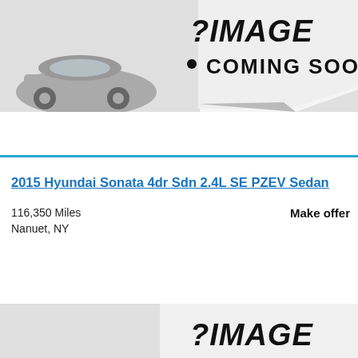[Figure (illustration): Image coming soon placeholder with curled paper effect and car silhouette on left. Text reads IMAGE COMING SOON in bold italic style.]
2015 Hyundai Sonata 4dr Sdn 2.4L SE PZEV Sedan
116,350 Miles
Nanuet, NY
Make offer
[Figure (illustration): Partial image coming soon placeholder at bottom of page — same curled paper style.]